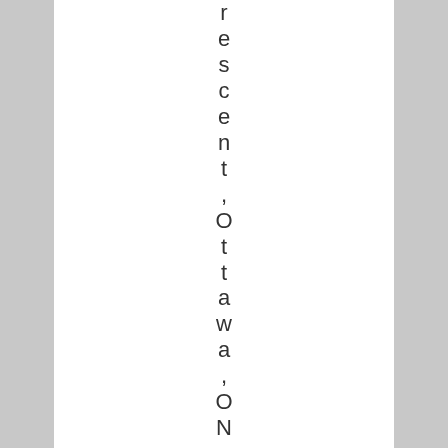rescent, Ottawa, ON. . . →Read